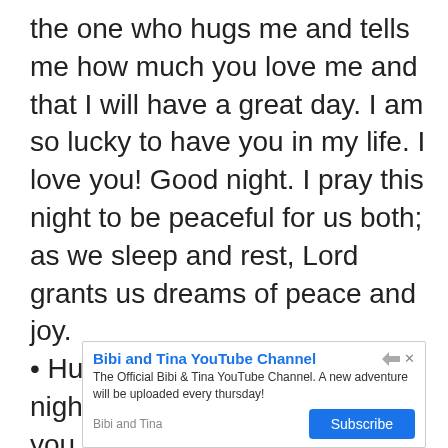the one who hugs me and tells me how much you love me and that I will have a great day. I am so lucky to have you in my life. I love you! Good night. I pray this night to be peaceful for us both; as we sleep and rest, Lord grants us dreams of peace and joy.
• Husband, I wish you a good night, that angels watch over you as you sleep, sweet, peaceful sleep to give you and all my loved
[Figure (screenshot): Advertisement banner for 'Bibi and Tina YouTube Channel'. Shows title in blue bold text, description 'The Official Bibi & Tina YouTube Channel. A new adventure will be uploaded every thursday!', brand name 'Bibi and Tina', and a blue Subscribe button. Has navigation arrow and X icons in top right.]